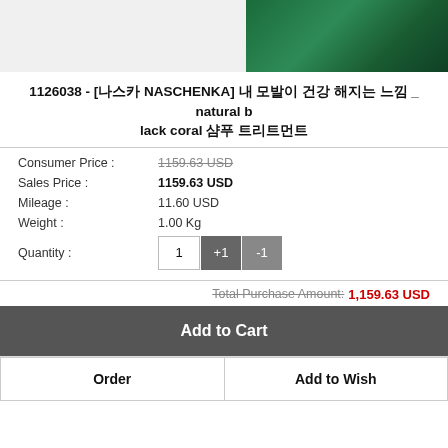[Figure (photo): Product image showing fabric/textile - white fabric on left side and dark green fabric on right side]
1126038 - [나스카 NASCHENKA] 내 모발이 건강 해지는 느낌 _ natural black coral 샴푸 트리트먼트
| Consumer Price : | 1159.63 USD |
| Sales Price : | 1159.63 USD |
| Mileage : | 11.60 USD |
| Weight : | 1.00 Kg |
| Quantity : | 1  +1  -1 |
Total Purchase Amount: 1,159.63 USD
Add to Cart
Order
Add to Wish